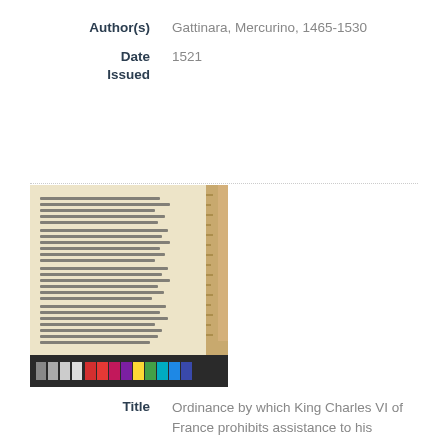| Author(s) | Gattinara, Mercurino, 1465-1530 |
| Date Issued | 1521 |
[Figure (photo): Photograph of an open manuscript book with handwritten text, accompanied by a wooden ruler on the right side. Below the manuscript is a color calibration strip with grey and color patches.]
| Title | Ordinance by which King Charles VI of France prohibits assistance to his |